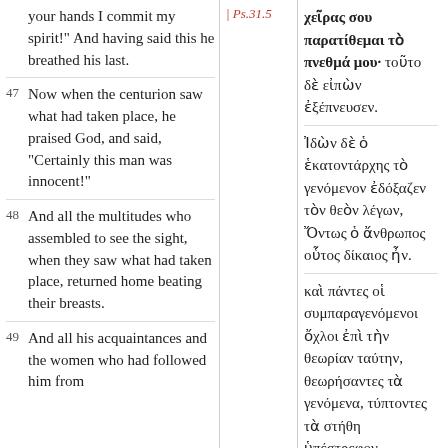your hands I commit my spirit!" And having said this he breathed his last.
Ps.31.5
χεῖρας σου παρατίθεμαι τὸ πνεθμά μου· τοῦτο δὲ εἰπὼν ἐξέπνευσεν.
47 Now when the centurion saw what had taken place, he praised God, and said, "Certainly this man was innocent!"
Ἰδὼν δὲ ὁ ἑκατοντάρχης τὸ γενόμενον ἐδόξαζεν τὸν θεὸν λέγων, Ὄντως ὁ ἄνθρωπος οὗτος δίκαιος ἦν.
48 And all the multitudes who assembled to see the sight, when they saw what had taken place, returned home beating their breasts.
καὶ πάντες οἱ συμπαραγενόμενοι ὄχλοι ἐπὶ τὴν θεωρίαν ταύτην, θεωρήσαντες τὰ γενόμενα, τύπτοντες τὰ στήθη ὑπέστρεφον.
49 And all his acquaintances and the women who had followed him from
εἱστήκεισαν δὲ πάντες οἱ γνωστοὶ αὐτῷ ἀπὸ μακρόθεν, καὶ γυναῖκες αἱ